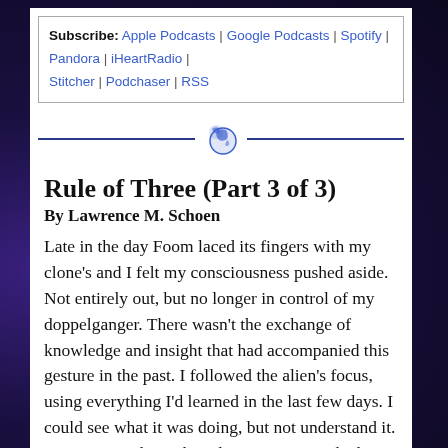Subscribe: Apple Podcasts | Google Podcasts | Spotify | Pandora | iHeartRadio | Stitcher | Podchaser | RSS
[Figure (illustration): Decorative divider with a blue horizontal line and a small globe/planet icon in the center]
Rule of Three (Part 3 of 3)
By Lawrence M. Schoen
Late in the day Foom laced its fingers with my clone’s and I felt my consciousness pushed aside. Not entirely out, but no longer in control of my doppelganger. There wasn’t the exchange of knowledge and insight that had accompanied this gesture in the past. I followed the alien’s focus, using everything I’d learned in the last few days. I could see what it was doing, but not understand it. “Can you explain what’s happening?” I asked.